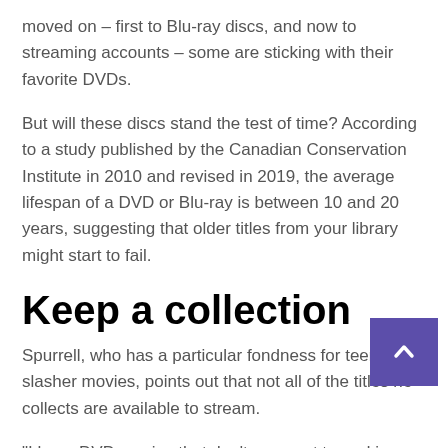moved on – first to Blu-ray discs, and now to streaming accounts – some are sticking with their favorite DVDs.
But will these discs stand the test of time? According to a study published by the Canadian Conservation Institute in 2010 and revised in 2019, the average lifespan of a DVD or Blu-ray is between 10 and 20 years, suggesting that older titles from your library might start to fail.
Keep a collection
Spurrell, who has a particular fondness for teen slasher movies, points out that not all of the titles he collects are available to stream.
"I have DVD movies that don't even get turned in anymore, and [movies] people often forget, "he said. A lot of these cult '90s movies that you may have seen...